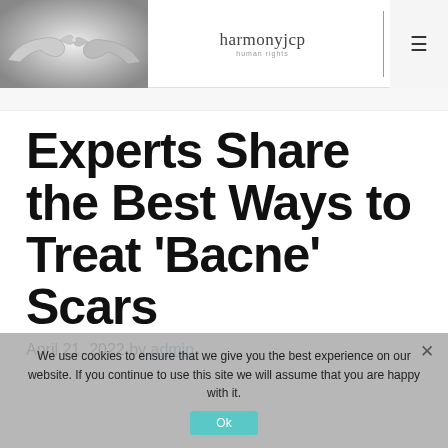[Figure (photo): Black and white photo of two hands reaching toward each other with fingers nearly touching, website header image for harmonyjcp]
harmonyjcp | human rights
Experts Share the Best Ways to Treat 'Bacne' Scars
April 21, 2022 by admin
We use cookies to ensure that we give you the best experience on our website. If you continue to use this site we will assume that you are happy with it.